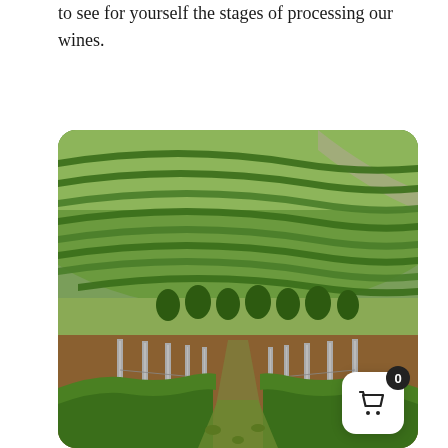to see for yourself the stages of processing our wines.
[Figure (photo): Aerial and ground-level view of vineyard rows on rolling green hills, with grapevine trellises in the foreground and terraced crop rows on the hillside in the background.]